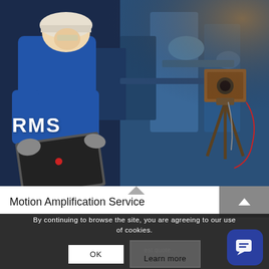[Figure (photo): Engineer in blue RMS coveralls using a ruggedized laptop near industrial machinery, with a thermal or vibration camera on a tripod in the background.]
Motion Amplification Service
By continuing to browse the site, you are agreeing to our use of cookies.
OK
Learn more